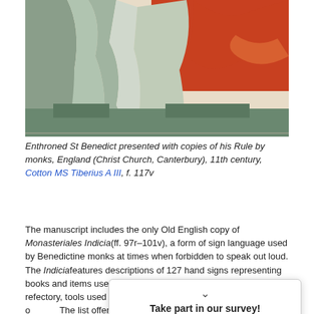[Figure (illustration): Partial view of a medieval manuscript illumination showing Enthroned St Benedict with monks, in colors of orange, blue-green, and beige. Bottom portion of the illustration is visible.]
Enthroned St Benedict presented with copies of his Rule by monks, England (Christ Church, Canterbury), 11th century, Cotton MS Tiberius A III, f. 117v
The manuscript includes the only Old English copy of Monasteriales Indicia(ff. 97r–101v), a form of sign language used by Benedictine monks at times when forbidden to speak out loud. The Indiciafeatures descriptions of 127 hand signs representing books and items used in the divine office, food consumed in the refectory, tools used daily, and persons met in the monastery and outside. The list offers an i[nteresting insight into the clothes] they wore and [the food they ate, for examp]le, sign 98 states t[hat] Ðonne pu[…] edere, 'when you[…]hers are